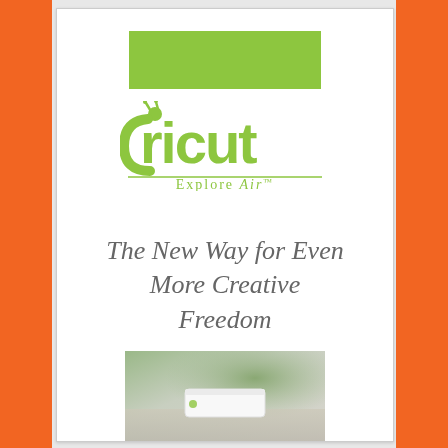[Figure (logo): Green rectangle placeholder/banner at top of white card]
[Figure (logo): Cricut Explore Air logo in green with bug icon on the C, with 'Explore Air' text below a horizontal rule]
The New Way for Even More Creative Freedom
[Figure (photo): Partial photo at bottom showing Cricut machine on a desk with a plant in background, muted green/grey tones]